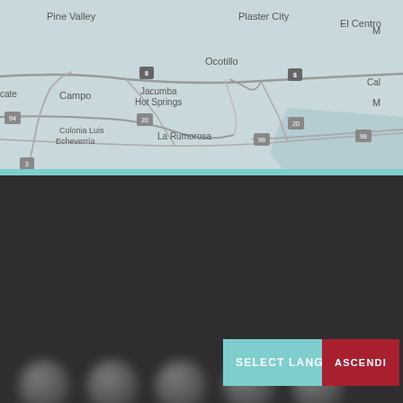[Figure (map): Road map showing southern California/Baja California border region with location names: Pine Valley, Plaster City, El Centro, Ocotillo, Jacumba Hot Springs, Campo, La Rumorosa, Colonia Luis Echeverria, and route numbers including 8, 94, 98, 20, 3]
[Figure (other): Row of blurred circular icon placeholders on dark background]
2083 Sunset Cliffs Blvd
San Diego, CA 92107
(619) 291-5
info@...
SELECT LANGUAGE
ASCENDI